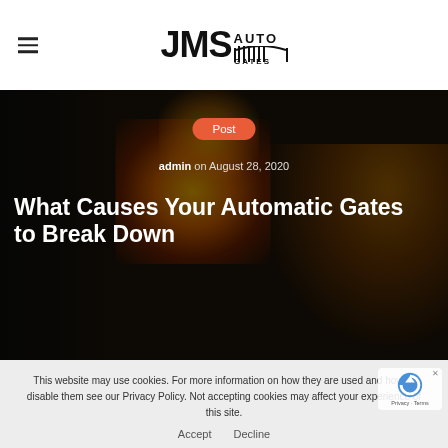[Figure (logo): JMS Auto Gates logo in black text with gate icon]
[Figure (photo): Dark industrial background with welding fire/sparks, worker in foreground]
Post
admin on August 28, 2020
What Causes Your Automatic Gates to Break Down
This website may use cookies. For more information on how they are used and how to disable them see our Privacy Policy. Not accepting cookies may affect your experience of this site.
Accept   Decline